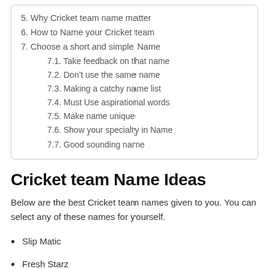5. Why Cricket team name matter
6. How to Name your Cricket team
7. Choose a short and simple Name
7.1. Take feedback on that name
7.2. Don’t use the same name
7.3. Making a catchy name list
7.4. Must Use aspirational words
7.5. Make name unique
7.6. Show your specialty in Name
7.7. Good sounding name
Cricket team Name Ideas
Below are the best Cricket team names given to you. You can select any of these names for yourself.
Slip Matic
Fresh Starz